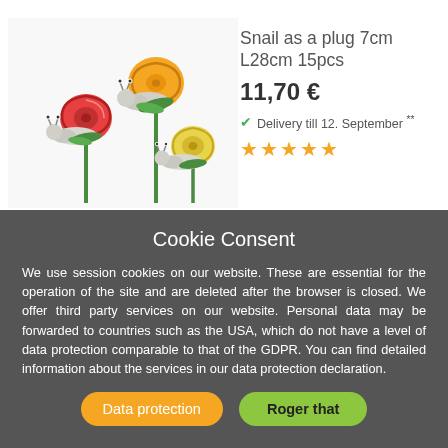[Figure (photo): Three decorative glass snail figurines on sticks. One orange-shelled snail on top, one red-shelled snail on the left, and one yellow-shelled snail on the right. They appear to be garden plug decorations.]
Snail as a plug 7cm L28cm 15pcs
11,70 €
Delivery till 12. September **
★★★★★
Cookie Consent
We use session cookies on our website. These are essential for the operation of the site and are deleted after the browser is closed. We offer third party services on our website. Personal data may be forwarded to countries such as the USA, which do not have a level of data protection comparable to that of the GDPR. You can find detailed information about the services in our data protection declaration.
Data protection
Roger that